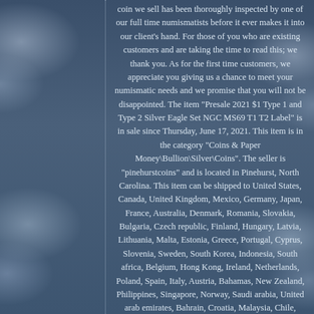coin we sell has been thoroughly inspected by one of our full time numismatists before it ever makes it into our client's hand. For those of you who are existing customers and are taking the time to read this; we thank you. As for the first time customers, we appreciate you giving us a chance to meet your numismatic needs and we promise that you will not be disappointed. The item "Presale 2021 $1 Type 1 and Type 2 Silver Eagle Set NGC MS69 T1 T2 Label" is in sale since Thursday, June 17, 2021. This item is in the category "Coins & Paper Money\Bullion\Silver\Coins". The seller is "pinehurstcoins" and is located in Pinehurst, North Carolina. This item can be shipped to United States, Canada, United Kingdom, Mexico, Germany, Japan, France, Australia, Denmark, Romania, Slovakia, Bulgaria, Czech republic, Finland, Hungary, Latvia, Lithuania, Malta, Estonia, Greece, Portugal, Cyprus, Slovenia, Sweden, South Korea, Indonesia, South africa, Belgium, Hong Kong, Ireland, Netherlands, Poland, Spain, Italy, Austria, Bahamas, New Zealand, Philippines, Singapore, Norway, Saudi arabia, United arab emirates, Bahrain, Croatia, Malaysia, Chile, Colombia, Costa rica, Dominican republic, Panama, Trinidad and tobago, Guatemala, El salvador, Honduras, Jamaica, Antigua and barbuda, Aruba, Belize, Dominica, Grenada, Saint kitts and nevis, Saint lucia, Montserrat, Turks and caicos islands, Barbados, Bangladesh, Bermuda